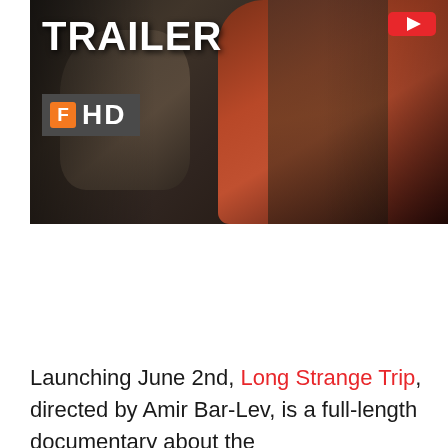[Figure (screenshot): YouTube video thumbnail for a trailer. Shows text 'TRAILER' in large white bold letters at upper left, a red YouTube logo at upper right, and an orange/white Fandango 'F HD' badge below TRAILER. Background shows people, one wearing a red shirt with curly hair visible on the right side.]
Launching June 2nd, Long Strange Trip, directed by Amir Bar-Lev, is a full-length documentary about the